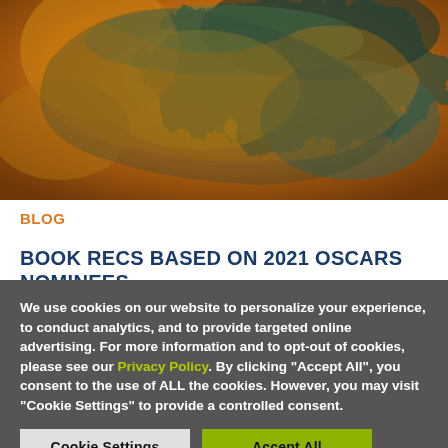[Figure (photo): Abstract swirling fluid art with golden, orange, yellow, and blue-green tones — appears to be ink or paint in water viewed from above.]
BLOG
BOOK RECS BASED ON 2021 OSCARS NOMINEES
We use cookies on our website to personalize your experience, to conduct analytics, and to provide targeted online advertising. For more information and to opt-out of cookies, please see our Privacy Policy. By clicking "Accept All", you consent to the use of ALL the cookies. However, you may visit "Cookie Settings" to provide a controlled consent.